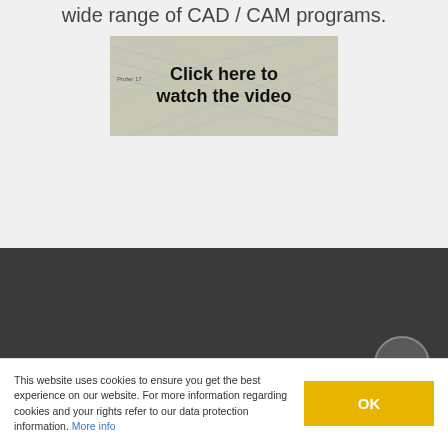wide range of CAD / CAM programs.
[Figure (screenshot): A clickable video banner showing 'Click here to watch the video' with a blueprint-style background image. A small 'Profer 17' label is visible.]
PROJECT DURATION
This website uses cookies to ensure you get the best experience on our website. For more information regarding cookies and your rights refer to our data protection information. More info
OK